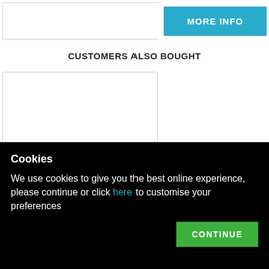[Figure (other): MORE INFO button area - top section of e-commerce product page]
CUSTOMERS ALSO BOUGHT
[Figure (other): Product card for Fender Dreadnought Multi-Fit Hard Case Black with 5 star rating and price £99.00]
Fender Dreadnought Multi-Fit Hard Case Black
★★★★★
£99.00
Cookies
We use cookies to give you the best online experience, please continue or click here to customise your preferences
CONTINUE